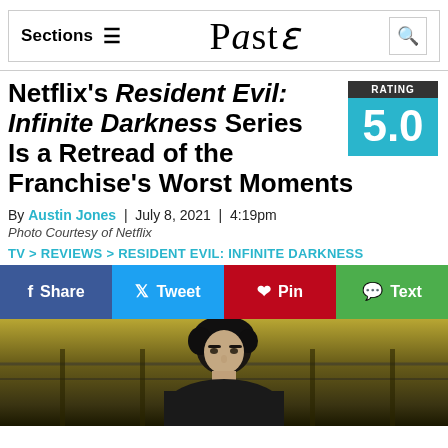Sections ≡  Paste  🔍
Netflix's Resident Evil: Infinite Darkness Series Is a Retread of the Franchise's Worst Moments
RATING 5.0
By Austin Jones | July 8, 2021 | 4:19pm
Photo Courtesy of Netflix
TV > REVIEWS > RESIDENT EVIL: INFINITE DARKNESS
[Figure (other): Social share buttons: Share (Facebook blue), Tweet (Twitter light blue), Pin (Pinterest red), Text (green)]
[Figure (photo): Hero image showing a dark-haired male character (Leon Kennedy) from Resident Evil: Infinite Darkness, with a golden-toned background featuring metal railings]